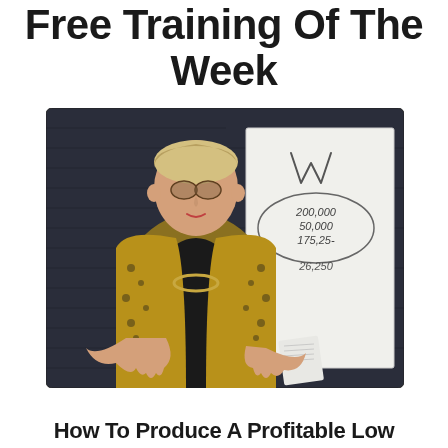Free Training Of The Week
[Figure (photo): A woman with short blonde hair and glasses, wearing a gold patterned jacket over a black top, standing in front of a dark brick wall and a whiteboard. The whiteboard shows handwritten numbers: 200,000, 50,000, 175,25-, 26,250. She is gesturing with both hands open, holding a paper in her right hand.]
How To Produce A Profitable Low